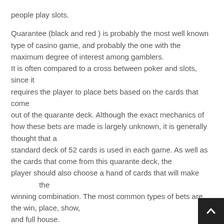people play slots.
Quarantee (black and red ) is probably the most well known type of casino game, and probably the one with the maximum degree of interest among gamblers. It is often compared to a cross between poker and slots, since it requires the player to place bets based on the cards that come out of the quarante deck. Although the exact mechanics of how these bets are made is largely unknown, it is generally thought that a standard deck of 52 cards is used in each game. As well as the cards that come from this quarante deck, the player should also choose a hand of cards that will make up the winning combination. The most common types of bets are the win, place, show, and full house.